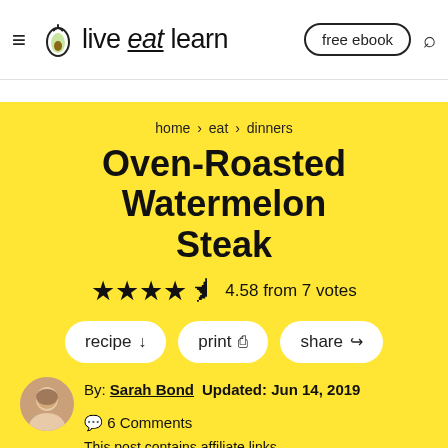live eat learn — free ebook [search]
home > eat > dinners
Oven-Roasted Watermelon Steak
★★★★½ 4.58 from 7 votes
recipe ↓   print 🖨   share ↗
By: Sarah Bond   Updated: Jun 14, 2019   💬 6 Comments
This post contains affiliate links.
This Oven Roasted Watermelon Steak is a